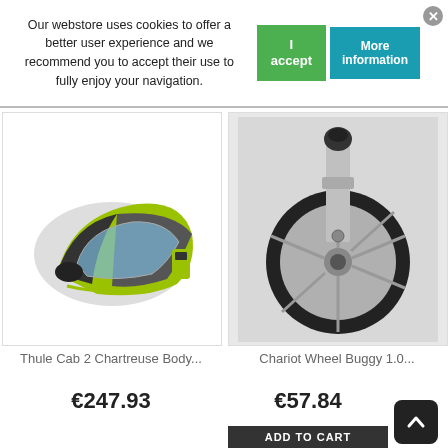Our webstore uses cookies to offer a better user experience and we recommend you to accept their use to fully enjoy your navigation.
[Figure (photo): Thule Cab 2 Chartreuse Body - green and black bicycle child trailer cab]
Thule Cab 2 Chartreuse Body...
€247.93
[Figure (photo): Chariot Wheel Buggy 1.0 - single grey wheel with metal fork and black knob]
Chariot Wheel Buggy 1.0...
€57.84